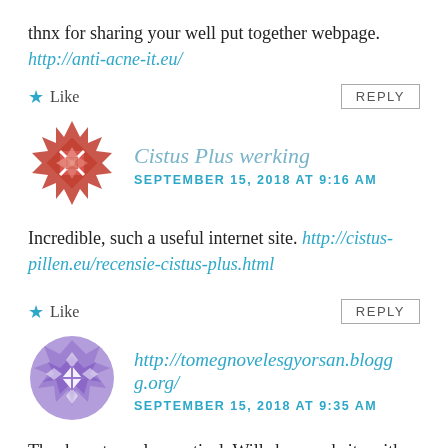thnx for sharing your well put together webpage. http://anti-acne-it.eu/
★ Like    REPLY
[Figure (illustration): Red geometric/quilt-pattern avatar icon for user Cistus Plus werking]
Cistus Plus werking
SEPTEMBER 15, 2018 AT 9:16 AM
Incredible, such a useful internet site. http://cistus-pillen.eu/recensie-cistus-plus.html
★ Like    REPLY
[Figure (illustration): Purple geometric/quilt-pattern avatar icon for user http://tomegnovelesgyorsan.blogg.org/]
http://tomegnovelesgyorsan.blogg.org/
SEPTEMBER 15, 2018 AT 9:35 AM
Thanks extremely practical. Will share website with